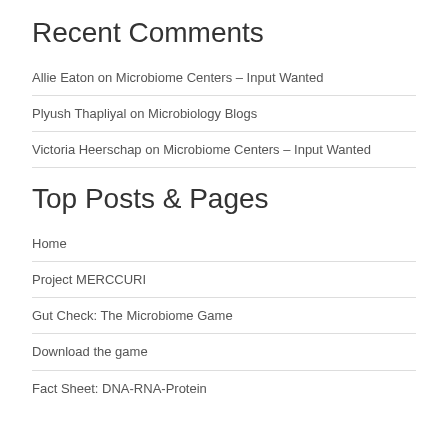Recent Comments
Allie Eaton on Microbiome Centers – Input Wanted
Plyush Thapliyal on Microbiology Blogs
Victoria Heerschap on Microbiome Centers – Input Wanted
Top Posts & Pages
Home
Project MERCCURI
Gut Check: The Microbiome Game
Download the game
Fact Sheet: DNA-RNA-Protein